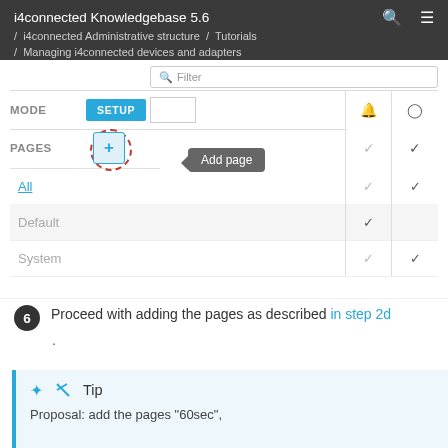i4connected Knowledgebase 5.6 / i4connected Administrative structure / Tutorials / Managing i4connected devices and adapters
[Figure (screenshot): UI screenshot showing MODE SETUP panel with Filter search bar, PAGES section with a circled + (Add page) button and tooltip reading 'Add page', with rows for All, Default, and System pages with checkmarks]
6  Proceed with adding the pages as described in step 2d .
Tip
Proposal: add the pages "60sec",